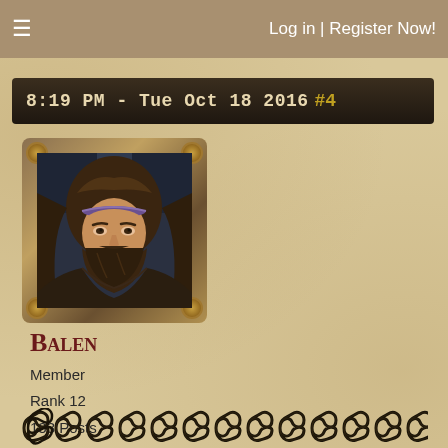Log in | Register Now!
8:19 PM - Tue Oct 18 2016 #4
[Figure (illustration): Fantasy portrait of a bearded man with long hair and a headband, in an ornate decorative frame with corner medallions and side ornaments]
Balen
Member
Rank 12
133 Posts
May 2016
[Figure (illustration): Decorative Celtic knot border pattern at the bottom of the page]